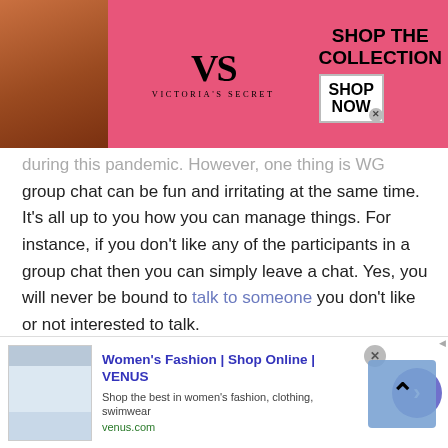[Figure (screenshot): Victoria's Secret advertisement banner: pink background with model on left, VS logo center, 'SHOP THE COLLECTION' text, and 'SHOP NOW' button on right]
during this pandemic. However, one thing is a WG group chat can be fun and irritating at the same time. It's all up to you how you can manage things. For instance, if you don't like any of the participants in a group chat then you can simply leave a chat. Yes, you will never be bound to talk to someone you don't like or not interested to talk.
Talking to strangers in Fiji via online group chat can give you amazing benefits that you can avail without spending money. With the group chat feature you
[Figure (screenshot): Women's Fashion | Shop Online | VENUS advertisement banner at bottom]
[Figure (screenshot): Scroll-to-top button overlay (blue/teal background with upward chevron arrow)]